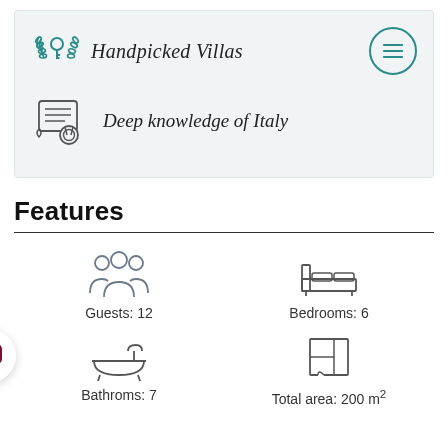[Figure (infographic): Handpicked Villas logo with laurel-wreath and key icon in teal, italic text 'Handpicked Villas', and a teal hamburger menu button on the right]
[Figure (infographic): Certificate/scroll icon with medal in teal, italic text 'Deep knowledge of Italy']
Features
[Figure (infographic): Guests icon (group of people silhouettes) with label 'Guests: 12']
[Figure (infographic): Bedroom icon (bed) with label 'Bedrooms: 6']
[Figure (infographic): Bathroms icon (bathtub) with label 'Bathroms: 7']
[Figure (infographic): Total area icon (floor plan grid) with label 'Total area: 200 m²']